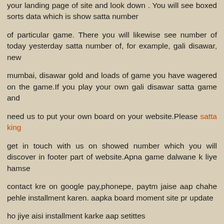your landing page of site and look down . You will see boxed sorts data which is show satta number
of particular game. There you will likewise see number of today yesterday satta number of, for example, gali disawar, new
mumbai, disawar gold and loads of game you have wagered on the game.If you play your own gali disawar satta game and
need us to put your own board on your website.Please satta king
get in touch with us on showed number which you will discover in footer part of website.Apna game dalwane k liye hamse
contact kre on google pay,phonepe, paytm jaise aap chahe pehle installment karen. aapka board moment site pr update
ho jiye aisi installment karke aap setittes